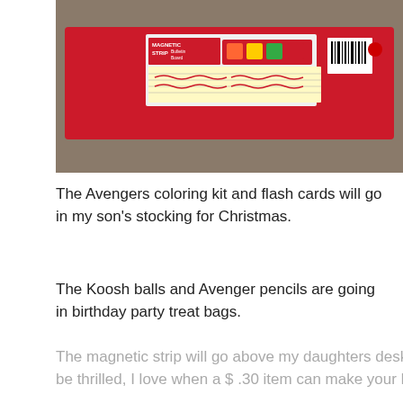[Figure (photo): Photo of a red Magnetic Strip Bulletin Board product in packaging, placed on a textured surface]
The Avengers coloring kit and flash cards will go in my son’s stocking for Christmas.
The Koosh balls and Avenger pencils are going in birthday party treat bags.
The magnetic strip will go above my daughters desk, so she can hang notes.   I am guessing she will be thrilled, I love when a $ .30 item can make your kid happy!